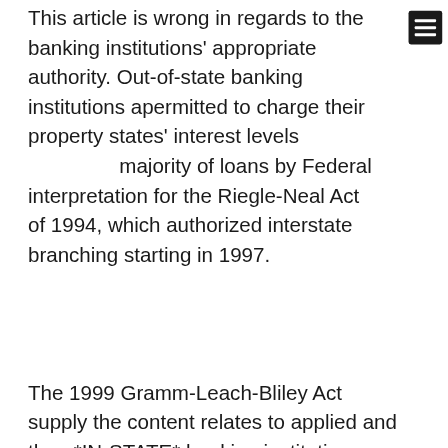This article is wrong in regards to the banking institutions' appropriate authority. Out-of-state banking institutions are permitted to charge their property states' interest levels for a majority of loans by Federal interpretation for the Riegle-Neal Act of 1994, which authorized interstate branching starting in 1997.
The 1999 Gramm-Leach-Bliley Act supply the content relates to applied and then *IN-STATE* banking institutions as a relief measure; it permits them to charge the greatest interest obtainable in any state whoever banking institutions have actually branched into Arkansas. It theoretically expired with all the enactment of Amendment 89 this current year; nonetheless, it absolutely was effortlessly integrated into Amendment 89 and made Arkansas that is permanent legislation.
Though it is confusing if Amendment 89 introduced Wells Fargo's legal house state of Southern Dakota, without any limit that is usury it had been starting to enter Arkansas whenever